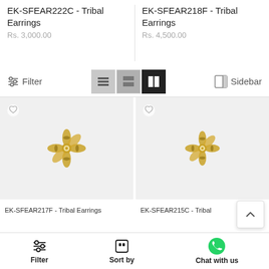EK-SFEAR222C - Tribal Earrings
Rs. 3,000.00
EK-SFEAR218F - Tribal Earrings
Rs. 4,500.00
[Figure (screenshot): E-commerce product listing page showing tribal earring products with filter/sort/view controls and a 2-column grid of product images with golden floral logos on grey backgrounds]
EK-SFEAR217F - Tribal Earrings
EK-SFEAR215C - Tribal
Filter
Sort by
Chat with us